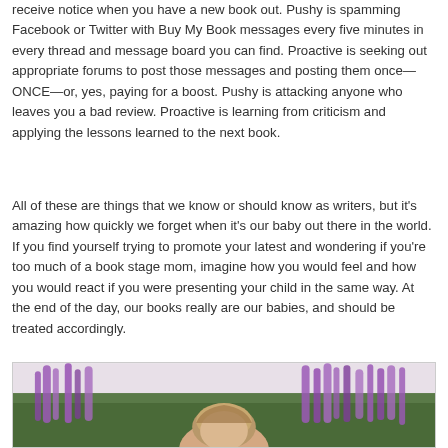receive notice when you have a new book out. Pushy is spamming Facebook or Twitter with Buy My Book messages every five minutes in every thread and message board you can find. Proactive is seeking out appropriate forums to post those messages and posting them once—ONCE—or, yes, paying for a boost. Pushy is attacking anyone who leaves you a bad review. Proactive is learning from criticism and applying the lessons learned to the next book.
All of these are things that we know or should know as writers, but it's amazing how quickly we forget when it's our baby out there in the world. If you find yourself trying to promote your latest and wondering if you're too much of a book stage mom, imagine how you would feel and how you would react if you were presenting your child in the same way. At the end of the day, our books really are our babies, and should be treated accordingly.
[Figure (photo): A person photographed outdoors in front of purple flowering plants (likely lavender or salvia) with green foliage in the background. Only the top portion of the person's head and the flowers are visible in this crop.]